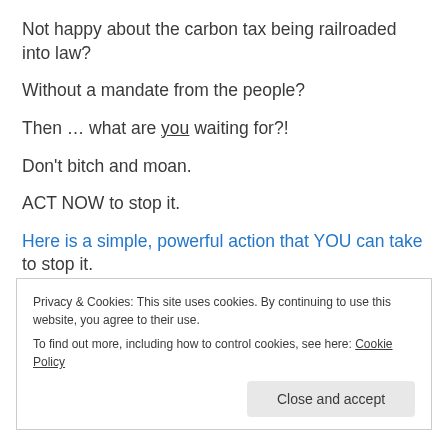Not happy about the carbon tax being railroaded into law?
Without a mandate from the people?
Then … what are you waiting for?!
Don't bitch and moan.
ACT NOW to stop it.
Here is a simple, powerful action that YOU can take to stop it.
Privacy & Cookies: This site uses cookies. By continuing to use this website, you agree to their use. To find out more, including how to control cookies, see here: Cookie Policy